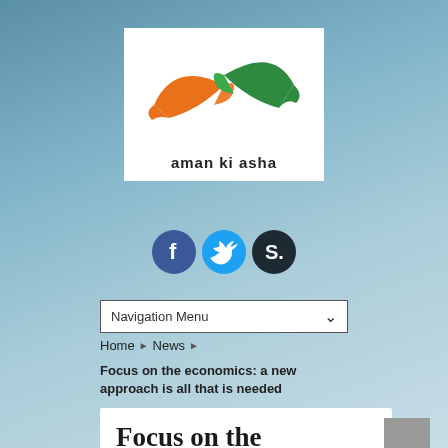[Figure (logo): Aman ki Asha logo with two stylized birds (one orange, one green) forming a circular shape, with text 'aman ki asha' below, on a white background]
[Figure (infographic): Three social media icons: Facebook (blue circle with 'f'), Twitter (light blue circle with bird), and a dark circle with 'S' (Scribd or similar)]
Navigation Menu
Home ▶ News ▶
Focus on the economics: a new approach is all that is needed
Focus on the economics: a new